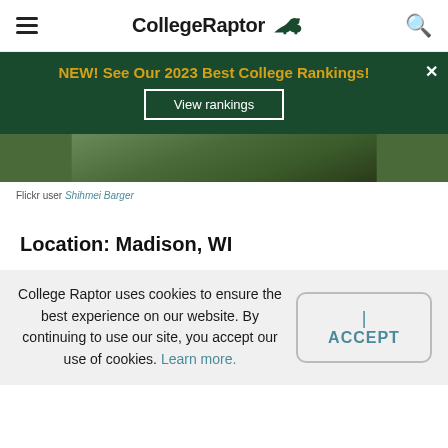CollegeRaptor
[Figure (infographic): Dark green promotional banner with gold bold text 'NEW! See Our 2023 Best College Rankings!' and a white-bordered button 'View rankings'. Close X in top-right corner.]
[Figure (photo): Partial outdoor photo strip showing greenery and a path, centered on the page.]
Flickr user Shihmei Barger
Location: Madison, WI
College Raptor uses cookies to ensure the best experience on our website. By continuing to use our site, you accept our use of cookies. Learn more.